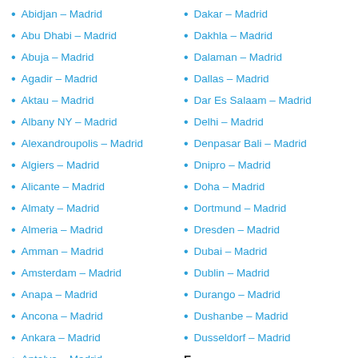Abidjan – Madrid
Abu Dhabi – Madrid
Abuja – Madrid
Agadir – Madrid
Aktau – Madrid
Albany NY – Madrid
Alexandroupolis – Madrid
Algiers – Madrid
Alicante – Madrid
Almaty – Madrid
Almeria – Madrid
Amman – Madrid
Amsterdam – Madrid
Anapa – Madrid
Ancona – Madrid
Ankara – Madrid
Antalya – Madrid
Antananarivo – Madrid
Dakar – Madrid
Dakhla – Madrid
Dalaman – Madrid
Dallas – Madrid
Dar Es Salaam – Madrid
Delhi – Madrid
Denpasar Bali – Madrid
Dnipro – Madrid
Doha – Madrid
Dortmund – Madrid
Dresden – Madrid
Dubai – Madrid
Dublin – Madrid
Durango – Madrid
Dushanbe – Madrid
Dusseldorf – Madrid
E